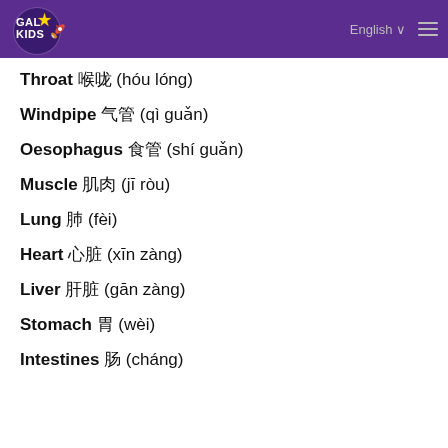Galaxy Kids — English language selector and navigation menu
Throat 喉咙 (hóu lóng)
Windpipe 气管 (qì guǎn)
Oesophagus 食管 (shí guǎn)
Muscle 肌肉 (jī ròu)
Lung 肺 (fèi)
Heart 心脏 (xīn zàng)
Liver 肝脏 (gān zàng)
Stomach 胃 (wèi)
Intestines 肠 (cháng)